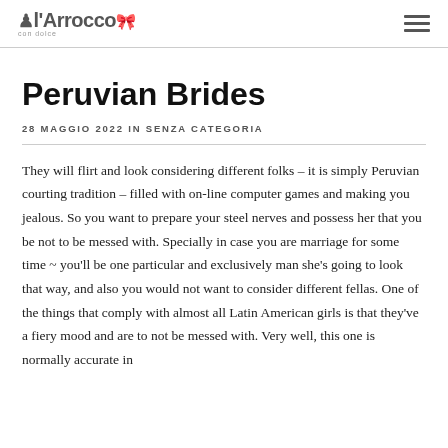l'Arrocco con dolce
Peruvian Brides
28 MAGGIO 2022 IN SENZA CATEGORIA
They will flirt and look considering different folks – it is simply Peruvian courting tradition – filled with on-line computer games and making you jealous. So you want to prepare your steel nerves and possess her that you be not to be messed with. Specially in case you are marriage for some time ~ you'll be one particular and exclusively man she's going to look that way, and also you would not want to consider different fellas. One of the things that comply with almost all Latin American girls is that they've a fiery mood and are to not be messed with. Very well, this one is normally accurate in terms of Peruvian brides.